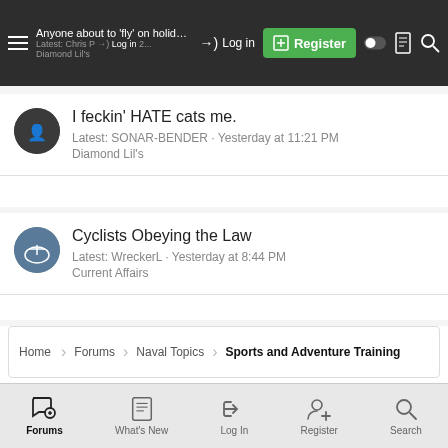Anyone about to 'fly' on holiday? Latest: Chris P... · Diamond Lil's — Log in | Register
I feckin' HATE cats me. Latest: SONAR-BENDER · Yesterday at 11:21 PM Diamond Lil's
Cyclists Obeying the Law Latest: WreckerL · Yesterday at 8:44 PM Current Affairs
Home › Forums › Naval Topics › Sports and Adventure Training
Reset Cookie Consent Choices
Forums | What's New | Log In | Register | Search